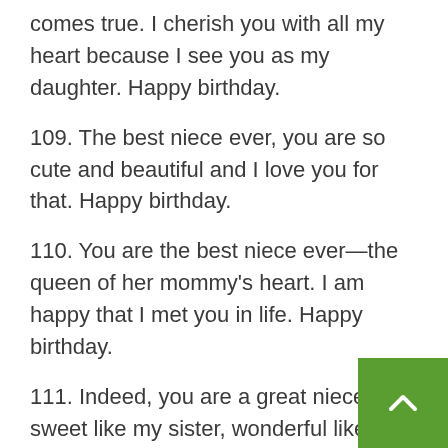comes true. I cherish you with all my heart because I see you as my daughter. Happy birthday.
109. The best niece ever, you are so cute and beautiful and I love you for that. Happy birthday.
110. You are the best niece ever—the queen of her mommy's heart. I am happy that I met you in life. Happy birthday.
111. Indeed, you are a great niece—sweet like my sister, wonderful like my brother and gorgeous like the queen of my home. Happy birthday.
112. I am always amazed by your ways—indeed you are special and gifted. I love you more than you can ever imagine. Happy birthday.
113.You are my dream niece because when I was